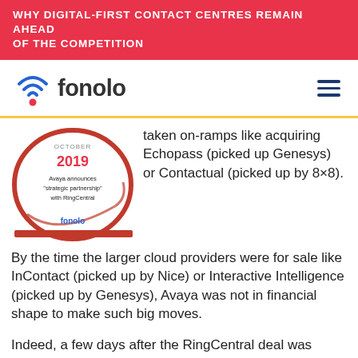WHY DIGITAL-FIRST CONTACT CENTRES REMAIN AHEAD OF THE COMPETITION
[Figure (logo): Fonolo logo with wifi icon and wordmark 'fonolo', plus hamburger menu icon]
[Figure (infographic): Fonolo infographic circle dated October 2019: 'Avaya announces strategic partnership with RingCentral']
taken on-ramps like acquiring Echopass (picked up Genesys) or Contactual (picked up by 8×8). By the time the larger cloud providers were for sale like InContact (picked up by Nice) or Interactive Intelligence (picked up by Genesys), Avaya was not in financial shape to make such big moves.
Indeed, a few days after the RingCentral deal was announced, Avaya issued a press release